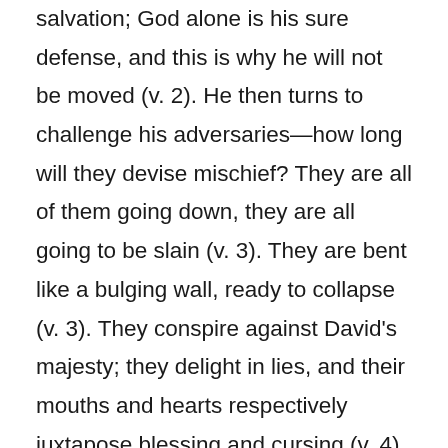salvation; God alone is his sure defense, and this is why he will not be moved (v. 2). He then turns to challenge his adversaries—how long will they devise mischief? They are all of them going down, they are all going to be slain (v. 3). They are bent like a bulging wall, ready to collapse (v. 3). They conspire against David's majesty; they delight in lies, and their mouths and hearts respectively juxtapose blessing and cursing (v. 4). Reflect on this. Selah. David charges his soul to wait upon God only, and to look to Him for his expectation (v. 5). God is his rock and salvation; God is his defense, and David is therefore immovable (v. 6). God is his salvation and his glory; his rock and refuge are in